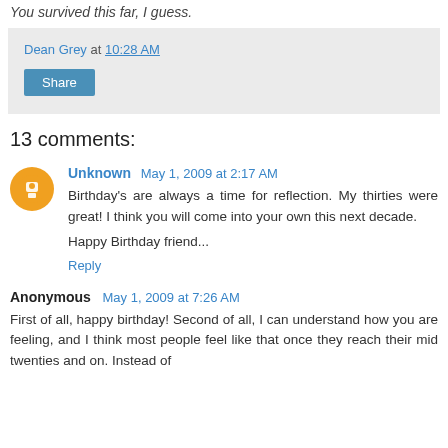You survived this far, I guess.
Dean Grey at 10:28 AM
Share
13 comments:
Unknown May 1, 2009 at 2:17 AM
Birthday's are always a time for reflection. My thirties were great! I think you will come into your own this next decade.

Happy Birthday friend...
Reply
Anonymous May 1, 2009 at 7:26 AM
First of all, happy birthday! Second of all, I can understand how you are feeling, and I think most people feel like that once they reach their mid twenties and on. Instead of